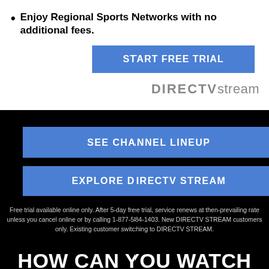Enjoy Regional Sports Networks with no additional fees.
START FREE TRIAL
[Figure (logo): DIRECTVstream logo in gray]
SEE CHANNEL LINEUP
EXPLORE DIRECTV STREAM
Free trial available online only. After 5-day free trial, service renews at then-prevailing rate unless you cancel online or by calling 1-877-584-1403. New DIRECTV STREAM customers only. Existing customer switching to DIRECTV STREAM.
HOW CAN YOU WATCH DIRECTV PEDRICKTOWN, N